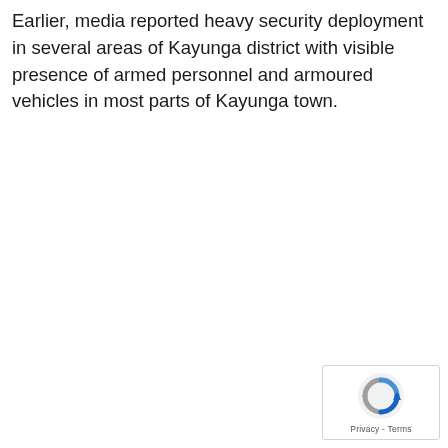Earlier, media reported heavy security deployment in several areas of Kayunga district with visible presence of armed personnel and armoured vehicles in most parts of Kayunga town.
[Figure (other): reCAPTCHA widget badge with circular arrow icon and 'Privacy - Terms' text]